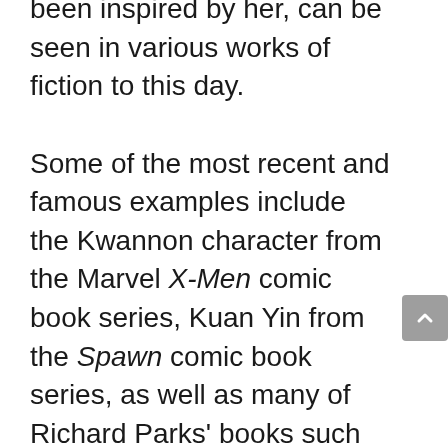been inspired by her, can be seen in various works of fiction to this day.

Some of the most recent and famous examples include the Kwannon character from the Marvel X-Men comic book series, Kuan Yin from the Spawn comic book series, as well as many of Richard Parks' books such as A Garden in Hell (2006), The White Bone Fan (2009), The Heavenly Fox (2011), and All the Gates of Hell (2013).